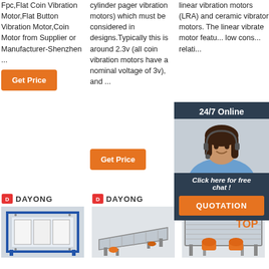Fpc,Flat Coin Vibration Motor,Flat Button Vibration Motor,Coin Motor from Supplier or Manufacturer-Shenzhen ...
cylinder pager vibration motors) which must be considered in designs.Typically this is around 2.3v (all coin vibration motors have a nominal voltage of 3v), and ...
linear vibration motors (LRA) and ceramic vibrator motors. The linear vibrate motor features low consumption relatively ...
[Figure (other): 24/7 online chat widget with customer service representative photo, 'Click here for free chat!' text, and QUOTATION button]
[Figure (other): Get Price orange button - column 1]
[Figure (other): Get Price orange button - column 2]
[Figure (other): Get Price orange button (partial) - column 3]
[Figure (logo): DAYONG logo - column 1]
[Figure (logo): DAYONG logo - column 2]
[Figure (logo): DAYONG logo - column 3]
[Figure (photo): Industrial filter press or vibration equipment - blue metal frame with white panels]
[Figure (photo): Industrial vibrating screen conveyor - silver/grey metal]
[Figure (photo): Industrial vibrating screen with orange decoration and TOP badge overlay]